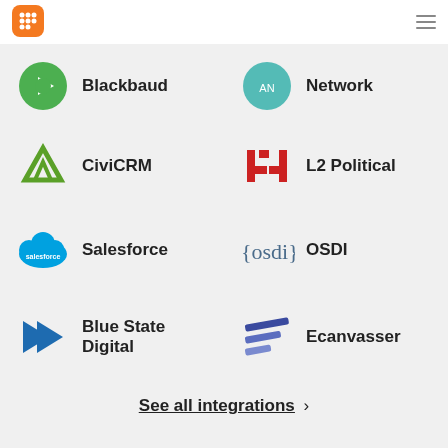Navigation header with logo and menu
[Figure (logo): Blackbaud logo - green circle with play button icon]
Blackbaud
[Figure (logo): Action Network logo - teal/green network icon]
Network
[Figure (logo): CiviCRM logo - green angular triangle/arrow shape]
CiviCRM
[Figure (logo): L2 Political logo - red bracket/L2 symbol]
L2 Political
[Figure (logo): Salesforce logo - blue cloud with salesforce text]
Salesforce
[Figure (logo): OSDI logo - {osdi} text in curly braces]
OSDI
[Figure (logo): Blue State Digital logo - blue arrow/chevron shape]
Blue State Digital
[Figure (logo): Ecanvasser logo - blue/purple layered lines icon]
Ecanvasser
See all integrations >